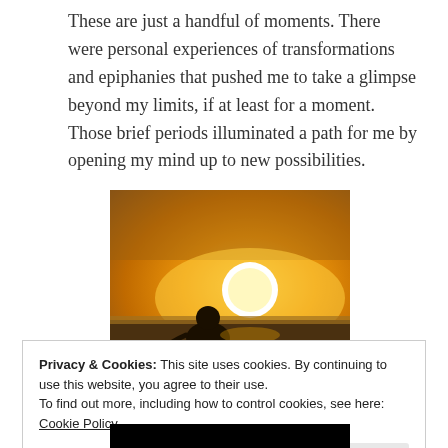These are just a handful of moments. There were personal experiences of transformations and epiphanies that pushed me to take a glimpse beyond my limits, if at least for a moment. Those brief periods illuminated a path for me by opening my mind up to new possibilities.
[Figure (photo): A person silhouetted against a bright golden sunset over a wide landscape, viewed from behind, sitting outdoors.]
Privacy & Cookies: This site uses cookies. By continuing to use this website, you agree to their use.
To find out more, including how to control cookies, see here: Cookie Policy